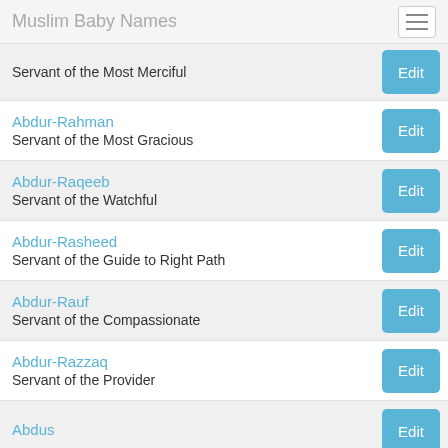Muslim Baby Names
Servant of the Most Merciful
Abdur-Rahman
Servant of the Most Gracious
Abdur-Raqeeb
Servant of the Watchful
Abdur-Rasheed
Servant of the Guide to Right Path
Abdur-Rauf
Servant of the Compassionate
Abdur-Razzaq
Servant of the Provider
Abdus
Name of the companion of the hadith...